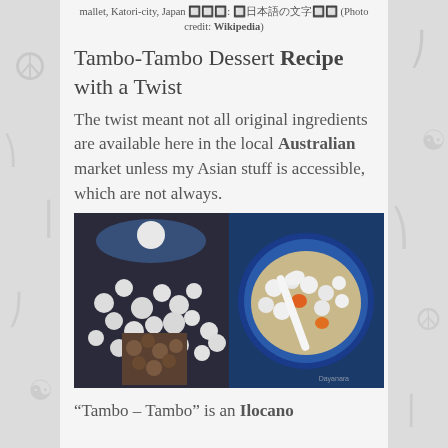mallet, Katori-city, Japan 🔲🔲🔲: 🔲日本語の文字🔲🔲 (Photo credit: Wikipedia)
Tambo-Tambo Dessert Recipe with a Twist
The twist meant not all original ingredients are available here in the local Australian market unless my Asian stuff is accessible, which are not always.
[Figure (photo): Two food photos side by side: left shows white round balls (tambo-tambo / bilo-bilo) in a bowl and a close-up inset of the dough balls; right shows a soup/dessert in a blue bowl with white and orange ingredients and a white spoon.]
“Tambo – Tambo” is an Ilocano